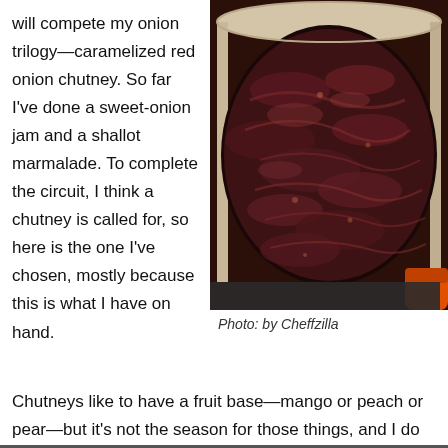will compete my onion trilogy—caramelized red onion chutney. So far I've done a sweet-onion jam and a shallot marmalade. To complete the circuit, I think a chutney is called for, so here is the one I've chosen, mostly because this is what I have on hand.
[Figure (photo): A pot of caramelized red onion chutney cooking on a stove, showing dark red-purple onions in a thick glossy sauce inside a cream-colored Dutch oven with an orange handle, photographed from above.]
Photo: by Cheffzilla
Chutneys like to have a fruit base—mango or peach or pear—but it's not the season for those things, and I do